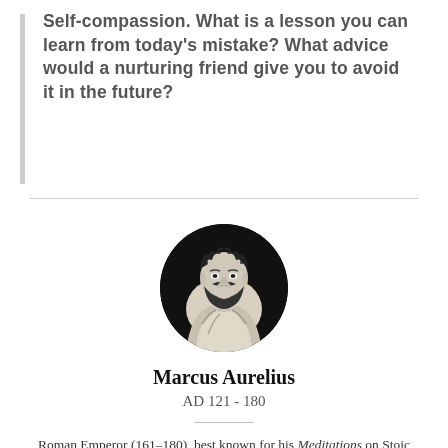Self-compassion. What is a lesson you can learn from today's mistake? What advice would a nurturing friend give you to avoid it in the future?
[Figure (illustration): Circular black and white portrait of Marcus Aurelius, a Roman bust sculpture showing the emperor with curly hair and beard, wearing draped robes.]
Marcus Aurelius
AD 121 - 180
Roman Emperor (161–180), best known for his Meditations on Stoic philosophy. Marcus Aurelius has symbolized for many generations in